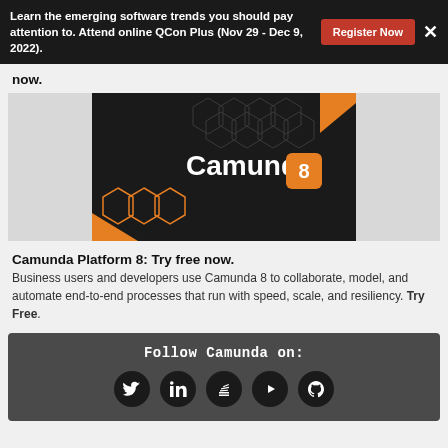Learn the emerging software trends you should pay attention to. Attend online QCon Plus (Nov 29 - Dec 9, 2022).
now.
[Figure (illustration): Camunda Platform 8 advertisement image with dark background, orange accent shapes, hexagon pattern, and text 'Camunda 8' with orange icon badge.]
Camunda Platform 8: Try free now.
Business users and developers use Camunda 8 to collaborate, model, and automate end-to-end processes that run with speed, scale, and resiliency. Try Free.
[Figure (infographic): Follow Camunda on social media panel with icons for Twitter, LinkedIn, Stack Overflow, YouTube, and GitHub on a dark background.]